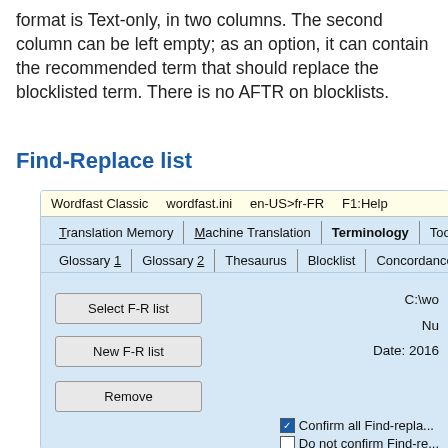format is Text-only, in two columns. The second column can be left empty; as an option, it can contain the recommended term that should replace the blocklisted term. There is no AFTR on blocklists.
Find-Replace list
[Figure (screenshot): Screenshot of Wordfast Classic software interface showing a dialog with menus: Wordfast Classic, wordfast.ini, en-US>fr-FR, F1:Help. Tabs: Translation Memory, Machine Translation, Terminology, Tools. Sub-tabs: Glossary 1, Glossary 2, Thesaurus, Blocklist, Concordance. Buttons: Select F-R list, New F-R list, Remove. Right side shows C:\wo..., Nu..., Date: 2016. Checkboxes: Confirm all Find-repla... (checked), Do not confirm Find-re... (unchecked).]